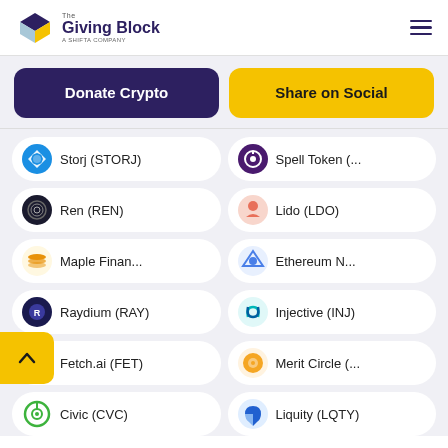The Giving Block - A Shifta Company
Donate Crypto
Share on Social
Storj (STORJ)
Spell Token (...
Ren (REN)
Lido (LDO)
Maple Finan...
Ethereum N...
Raydium (RAY)
Injective (INJ)
Fetch.ai (FET)
Merit Circle (...
Civic (CVC)
Liquity (LQTY)